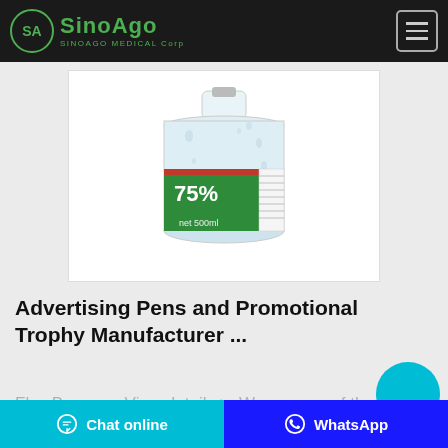SinoAgo SINOAGO MEDICAL Corp
[Figure (photo): A hand sanitizer bottle with green label showing 75% and 500ml, with water droplets on the surface, displayed against a white background inside a bordered container.]
Advertising Pens and Promotional Trophy Manufacturer ...
Flex Banners. View details >. We are one of the predominant manufacturer
Chat online  WhatsApp